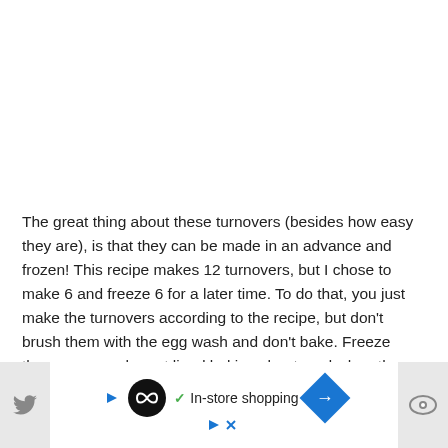The great thing about these turnovers (besides how easy they are), is that they can be made in an advance and frozen! This recipe makes 12 turnovers, but I chose to make 6 and freeze 6 for a later time. To do that, you just make the turnovers according to the recipe, but don't brush them with the egg wash and don't bake. Freeze them on a parchment lined baking sheet, and when they are frozen solid you can transfer them to a freezer storage bag.
When you want apple cheddar turnovers, pull 'em out of the freezer, brush with egg wash and bake! It's really that simple.
[Figure (other): Advertisement banner with social media icons (Twitter bird on left, eye icon on right), a circular black logo with infinity-like symbol in the center, a blue play triangle icon, a blue X icon, a green checkmark with 'In-store shopping' text, and a blue diamond-shaped navigation arrow icon.]